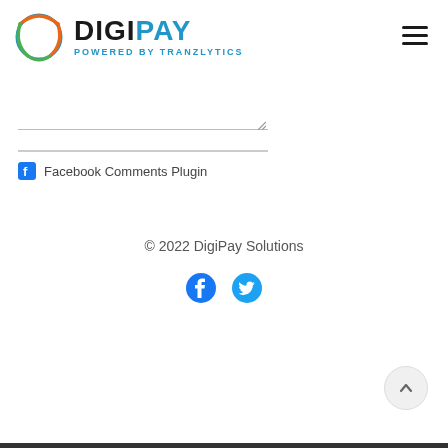[Figure (logo): DigiPay logo with circular globe icon in orange, green and blue, with text 'DigiPay' in bold black and 'POWERED BY TRANZLYTICS' in blue below]
[Figure (other): Hamburger/menu icon with three horizontal lines]
[Figure (other): Text input/comment box with resize handle, and a separator line below]
Facebook Comments Plugin
© 2022 DigiPay Solutions
[Figure (other): Facebook and Twitter social media icons in blue]
[Figure (other): Scroll-to-top circular button with upward caret arrow]